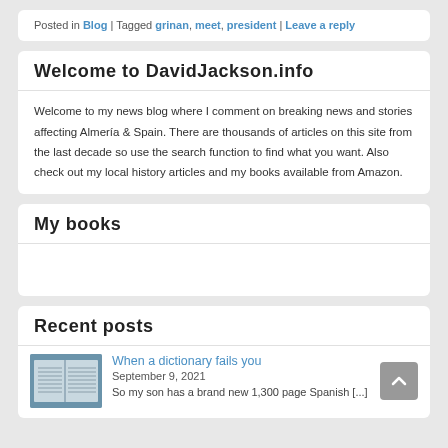Posted in Blog | Tagged grinan, meet, president | Leave a reply
Welcome to DavidJackson.info
Welcome to my news blog where I comment on breaking news and stories affecting Almería & Spain. There are thousands of articles on this site from the last decade so use the search function to find what you want. Also check out my local history articles and my books available from Amazon.
My books
Recent posts
[Figure (photo): Thumbnail photo of an open dictionary book, used as post image]
When a dictionary fails you
September 9, 2021
So my son has a brand new 1,300 page Spanish [...]